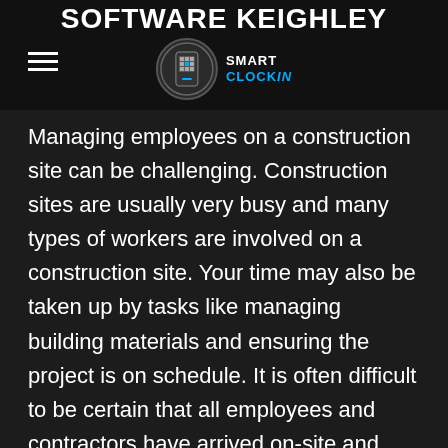SOFTWARE KEIGHLEY
[Figure (logo): Smart Clockin logo: circular icon with phone/QR graphic, text 'SMART CLOCKIN' in white and blue]
Managing employees on a construction site can be challenging. Construction sites are usually very busy and many types of workers are involved on a construction site. Your time may also be taken up by tasks like managing building materials and ensuring the project is on schedule. It is often difficult to be certain that all employees and contractors have arrived on-site and have started work.
Fortunately, there is an easy solution. Smart Clockin can be used to clock-in workers and keep track of their activities throughout the